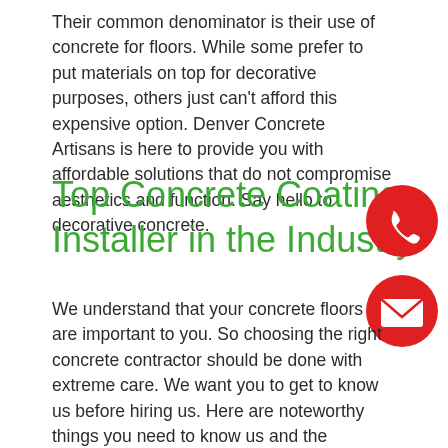Their common denominator is their use of concrete for floors. While some prefer to put materials on top for decorative purposes, others just can't afford this expensive option. Denver Concrete Artisans is here to provide you with affordable solutions that do not compromise aesthetics and function. Say hello to decorative concrete.
Top Concrete Coating Installer in the Industry
[Figure (illustration): Red circular button with white phone handset icon]
[Figure (illustration): Red circular button with white envelope/email icon]
We understand that your concrete floors are important to you. So choosing the right concrete contractor should be done with extreme care. We want you to get to know us before hiring us. Here are noteworthy things you need to know us and the services we offer: